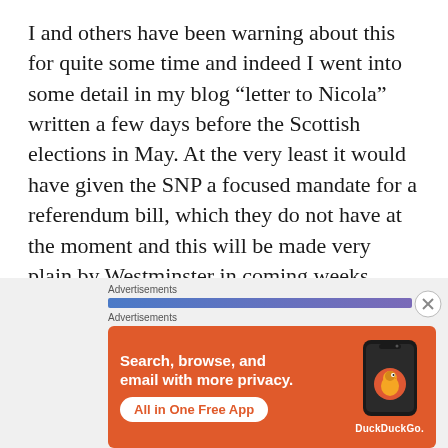I and others have been warning about this for quite some time and indeed I went into some detail in my blog “letter to Nicola” written a few days before the Scottish elections in May. At the very least it would have given the SNP a focused mandate for a referendum bill, which they do not have at the moment and this will be made very plain by Westminster in coming weeks.
[Figure (infographic): DuckDuckGo advertisement banner with orange background showing phone mockup with DuckDuckGo logo, headline 'Search, browse, and email with more privacy.' and 'All in One Free App' call-to-action button. Above the banner are two 'Advertisements' labels and a blue/purple gradient bar.]